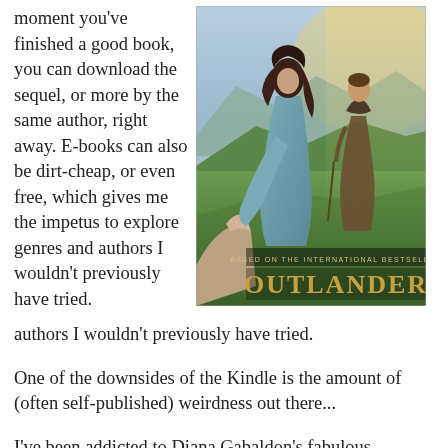moment you've finished a good book, you can download the sequel, or more by the same author, right away. E-books can also be dirt-cheap, or even free, which gives me the impetus to explore genres and authors I wouldn't previously have tried.
[Figure (photo): Promotional poster for the TV show 'Outlander' based on the international bestseller, showing a woman in a teal dress reaching out her hand toward the viewer while a man in Scottish Highland clothing stands behind her against a misty green hill landscape.]
One of the downsides of the Kindle is the amount of (often self-published) weirdness out there...
I've been addicted to Diana Gabaldon's fabulous 'Outlander'